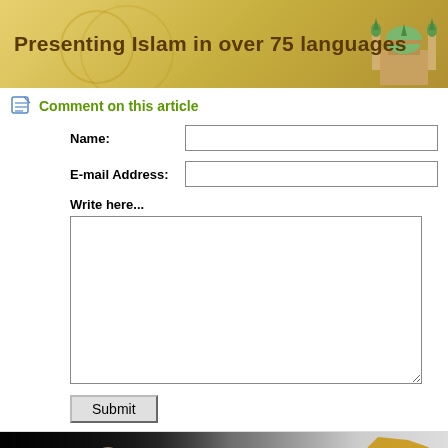[Figure (illustration): Website header banner with text 'Presenting Islam in over 75 languages' on a golden/olive background with a mosque illustration on the right]
Comment on this article
Name:
E-mail Address:
Write here...
Submit
[Figure (photo): Bihar Elections banner showing politicians on left, cursive 'Bihar Elections' text in center, and a gold map of Bihar on the right]
News Pick